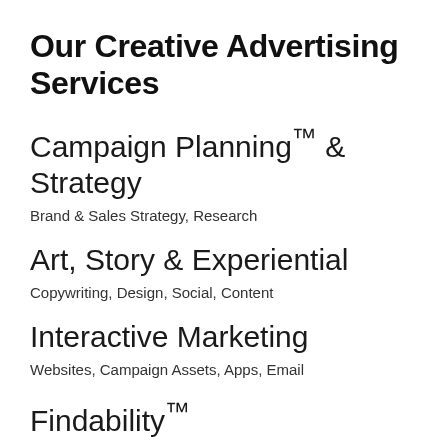Our Creative Advertising Services
Campaign Planning™ & Strategy
Brand & Sales Strategy, Research
Art, Story & Experiential
Copywriting, Design, Social, Content
Interactive Marketing
Websites, Campaign Assets, Apps, Email
Findability™